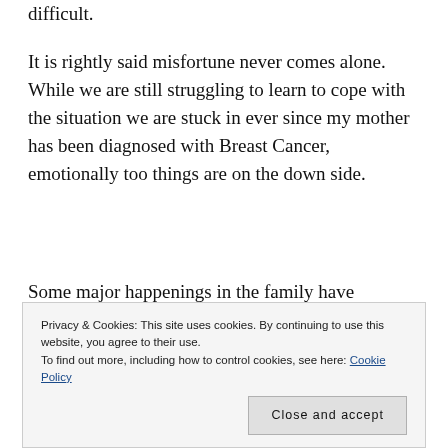difficult.
It is rightly said misfortune never comes alone. While we are still struggling to learn to cope with the situation we are stuck in ever since my mother has been diagnosed with Breast Cancer, emotionally too things are on the down side.
Some major happenings in the family have
Privacy & Cookies: This site uses cookies. By continuing to use this website, you agree to their use.
To find out more, including how to control cookies, see here: Cookie Policy
Close and accept